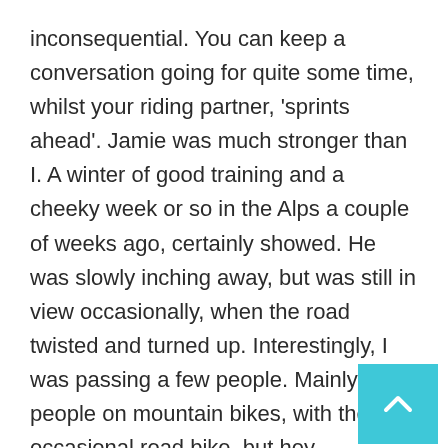inconsequential. You can keep a conversation going for quite some time, whilst your riding partner, 'sprints ahead'. Jamie was much stronger than I. A winter of good training and a cheeky week or so in the Alps a couple of weeks ago, certainly showed. He was slowly inching away, but was still in view occasionally, when the road twisted and turned up. Interestingly, I was passing a few people. Mainly people on mountain bikes, with the occasional road bike, but hey, something to keep focussed on. I felt good and relatively confident. Or was that foolish, as I knew what was coming up?
The climb from Bécdoin to the top of Ventoux is about 13.75 miles. It can (almost)